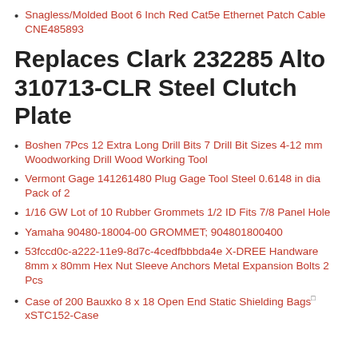Snagless/Molded Boot 6 Inch Red Cat5e Ethernet Patch Cable CNE485893
Replaces Clark 232285 Alto 310713-CLR Steel Clutch Plate
Boshen 7Pcs 12 Extra Long Drill Bits 7 Drill Bit Sizes 4-12 mm Woodworking Drill Wood Working Tool
Vermont Gage 141261480 Plug Gage Tool Steel 0.6148 in dia Pack of 2
1/16 GW Lot of 10 Rubber Grommets 1/2 ID Fits 7/8 Panel Hole
Yamaha 90480-18004-00 GROMMET; 904801800400
53fccd0c-a222-11e9-8d7c-4cedfbbbda4e X-DREE Handware 8mm x 80mm Hex Nut Sleeve Anchors Metal Expansion Bolts 2 Pcs
Case of 200 Bauxko 8 x 18 Open End Static Shielding Bags xSTC152-Case